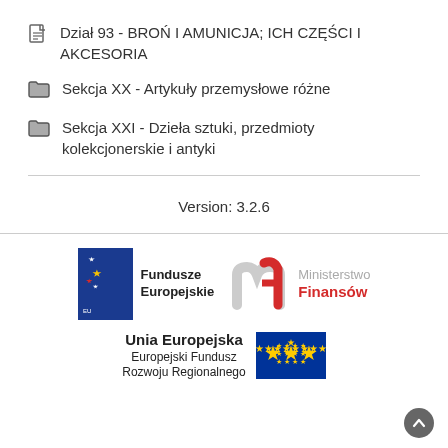Dział 93 - BROŃ I AMUNICJA; ICH CZĘŚCI I AKCESORIA
Sekcja XX - Artykuły przemysłowe różne
Sekcja XXI - Dzieła sztuki, przedmioty kolekcjonerskie i antyki
Version: 3.2.6
[Figure (logo): Fundusze Europejskie logo with EU flag and text, Ministerstwo Finansów logo with MF emblem]
[Figure (logo): Unia Europejska, Europejski Fundusz Rozwoju Regionalnego logo with EU blue flag with stars]